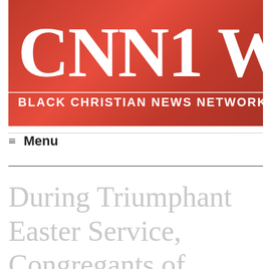[Figure (logo): CNN1 W logo banner with red background, large white serif letters 'CNN1 W' and subtitle 'BLACK CHRISTIAN NEWS NETWORK O']
≡ Menu
During Triumphant Easter Service, Congregants of